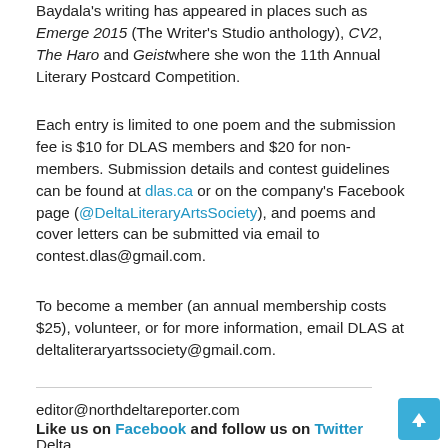Baydala's writing has appeared in places such as Emerge 2015 (The Writer's Studio anthology), CV2, The Haro and Geist where she won the 11th Annual Literary Postcard Competition.
Each entry is limited to one poem and the submission fee is $10 for DLAS members and $20 for non-members. Submission details and contest guidelines can be found at dlas.ca or on the company's Facebook page (@DeltaLiteraryArtsSociety), and poems and cover letters can be submitted via email to contest.dlas@gmail.com.
To become a member (an annual membership costs $25), volunteer, or for more information, email DLAS at deltaliteraryartssociety@gmail.com.
editor@northdeltareporter.com
Like us on Facebook and follow us on Twitter
Delta